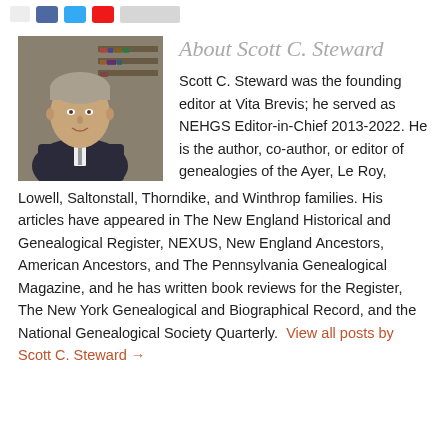[social share buttons row]
About Scott C. Steward
[Figure (photo): Headshot photo of Scott C. Steward, a middle-aged man in a dark suit, with bookshelves in the background.]
Scott C. Steward was the founding editor at Vita Brevis; he served as NEHGS Editor-in-Chief 2013-2022. He is the author, co-author, or editor of genealogies of the Ayer, Le Roy, Lowell, Saltonstall, Thorndike, and Winthrop families. His articles have appeared in The New England Historical and Genealogical Register, NEXUS, New England Ancestors, American Ancestors, and The Pennsylvania Genealogical Magazine, and he has written book reviews for the Register, The New York Genealogical and Biographical Record, and the National Genealogical Society Quarterly.  View all posts by Scott C. Steward →